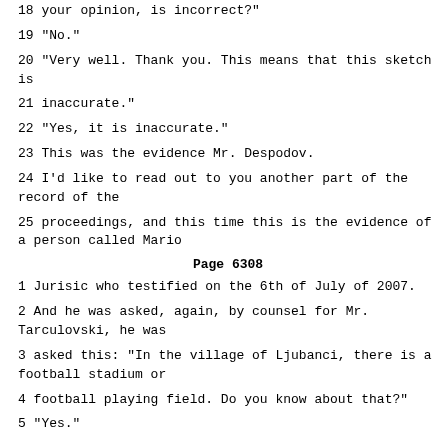18 your opinion, is incorrect?"
19 "No."
20 "Very well. Thank you. This means that this sketch is
21 inaccurate."
22 "Yes, it is inaccurate."
23 This was the evidence Mr. Despodov.
24 I'd like to read out to you another part of the record of the
25 proceedings, and this time this is the evidence of a person called Mario
Page 6308
1 Jurisic who testified on the 6th of July of 2007.
2 And he was asked, again, by counsel for Mr. Tarculovski, he was
3 asked this: "In the village of Ljubanci, there is a football stadium or
4 football playing field. Do you know about that?"
5 "Yes."